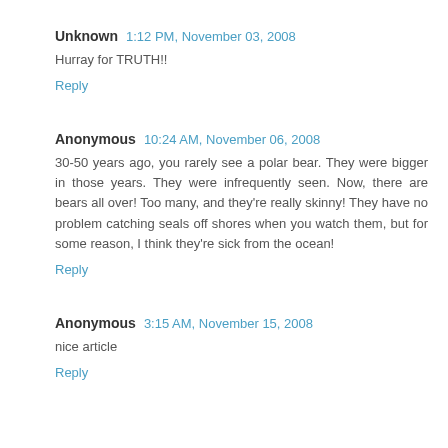Unknown  1:12 PM, November 03, 2008
Hurray for TRUTH!!
Reply
Anonymous  10:24 AM, November 06, 2008
30-50 years ago, you rarely see a polar bear. They were bigger in those years. They were infrequently seen. Now, there are bears all over! Too many, and they're really skinny! They have no problem catching seals off shores when you watch them, but for some reason, I think they're sick from the ocean!
Reply
Anonymous  3:15 AM, November 15, 2008
nice article
Reply